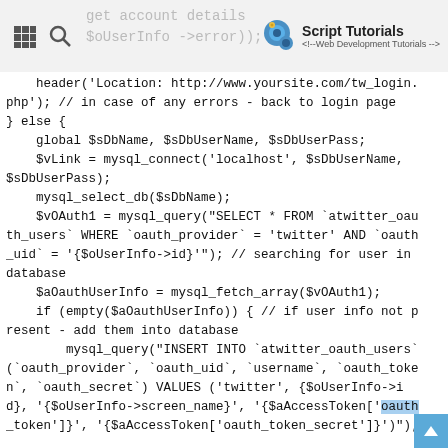Script Tutorials <!-- Web Development Tutorials -->
header('Location: http://www.yoursite.com/tw_login.php'); // in case of any errors - back to login page
} else {
    global $sDbName, $sDbUserName, $sDbUserPass;
    $vLink = mysql_connect('localhost', $sDbUserName, $sDbUserPass);
    mysql_select_db($sDbName);
    $vOAuth1 = mysql_query("SELECT * FROM `atwitter_oauth_users` WHERE `oauth_provider` = 'twitter' AND `oauth_uid` = '{$oUserInfo->id}'"); // searching for user in database
    $aOauthUserInfo = mysql_fetch_array($vOAuth1);
    if (empty($aOauthUserInfo)) { // if user info not present - add them into database
        mysql_query("INSERT INTO `atwitter_oauth_users` (`oauth_provider`, `oauth_uid`, `username`, `oauth_token`, `oauth_secret`) VALUES ('twitter', {$oUserInfo->id}, '{$oUserInfo->screen_name}', '{$aAccessToken['oauth_token']}', '{$aAccessToken['oauth_token_secret']}')");